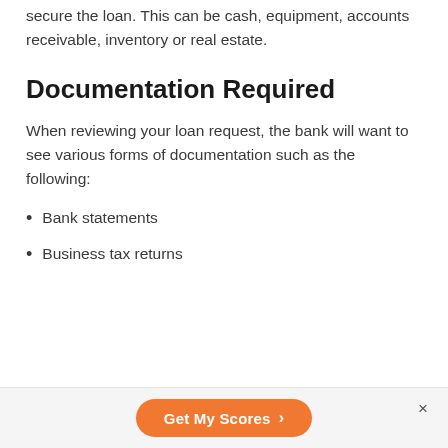secure the loan. This can be cash, equipment, accounts receivable, inventory or real estate.
Documentation Required
When reviewing your loan request, the bank will want to see various forms of documentation such as the following:
Bank statements
Business tax returns
Get My Scores >